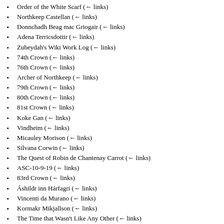Order of the White Scarf  (← links)
Northkeep Castellan  (← links)
Donnchadh Beag mac Griogair  (← links)
Adena Terricsdottir  (← links)
Zubeydah's Wiki Work Log  (← links)
74th Crown  (← links)
76th Crown  (← links)
Archer of Northkeep  (← links)
79th Crown  (← links)
80th Crown  (← links)
81st Crown  (← links)
Koke Gan  (← links)
Vindheim  (← links)
Micauley Morison  (← links)
Silvana Corwin  (← links)
The Quest of Robin de Chantenay Carrot  (← links)
ASC-10-9-19  (← links)
83rd Crown  (← links)
Áshildr inn Hárfagri  (← links)
Vincenti da Murano  (← links)
Kormakr Mikjallson  (← links)
The Time that Wasn't Like Any Other  (← links)
GarbInSnow  (← links)
Vindheim Royal Treasures  (← links)
84th Crown  (← links)